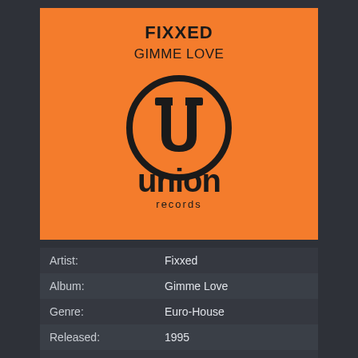[Figure (illustration): Orange album cover for Fixxed - Gimme Love on Union Records, featuring the Union Records logo (circle with stylized U, and 'union records' text below) on an orange background, with artist name FIXXED and album title GIMME LOVE at top]
| Artist: | Fixxed |
| Album: | Gimme Love |
| Genre: | Euro-House |
| Released: | 1995 |
| Tracks: | 4 |